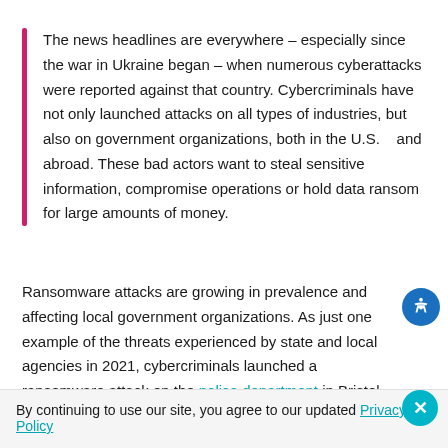The news headlines are everywhere – especially since the war in Ukraine began – when numerous cyberattacks were reported against that country. Cybercriminals have not only launched attacks on all types of industries, but also on government organizations, both in the U.S.   and abroad. These bad actors want to steal sensitive information, compromise operations or hold data ransom for large amounts of money.
Ransomware attacks are growing in prevalence and affecting local government organizations. As just one example of the threats experienced by state and local agencies in 2021, cybercriminals launched a ransomware attack on the police department in Bristol, Virginia, gaining control of the department's computers and accessing classified data, which was later sold on the dark web. According to the Bristol Herald Courier article that reported the
By continuing to use our site, you agree to our updated Privacy Policy